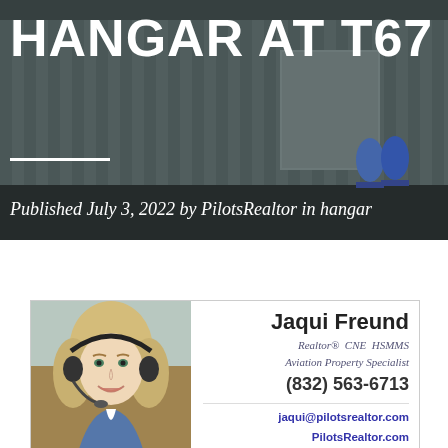[Figure (photo): Hero banner photo of a metal hangar building with corrugated siding, large door opening, and blue propane tanks visible outside on a concrete apron. Dark overlay applied over the image.]
HANGAR AT T67
Published July 3, 2022 by PilotsRealtor in hangar
[Figure (photo): Portrait photo of Jaqui Freund, a woman with blonde hair wearing a pilot headset, smiling, seated in a cockpit.]
Jaqui Freund
Realtor® CNE HSMMS
Aviation Property Specialist
(832) 563-6713
jaqui@pilotsrealtor.com
PilotsRealtor.com
LiveWithMyPlane.com